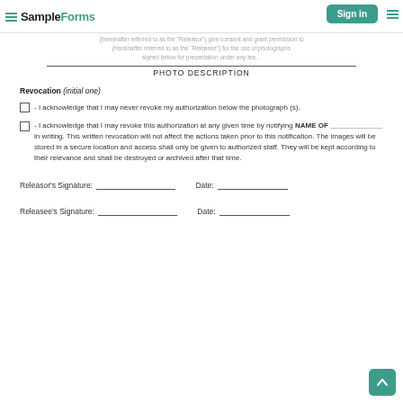SampleForms — navigation bar with Sign in button
(hereinafter referred to as the "Releasor") give consent and grant permission to (hereinafter referred to as the "Releasee") for the use of photographs signed below for presentation under any lea…
PHOTO DESCRIPTION
Revocation (initial one)
- I acknowledge that I may never revoke my authorization below the photograph (s).
- I acknowledge that I may revoke this authorization at any given time by notifying NAME OF _____________ in writing. This written revocation will not affect the actions taken prior to this notification. The images will be stored in a secure location and access shall only be given to authorized staff. They will be kept according to their relevance and shall be destroyed or archived after that time.
Releasor's Signature: ____________________        Date: __________________
Releasee's Signature: ____________________        Date: __________________